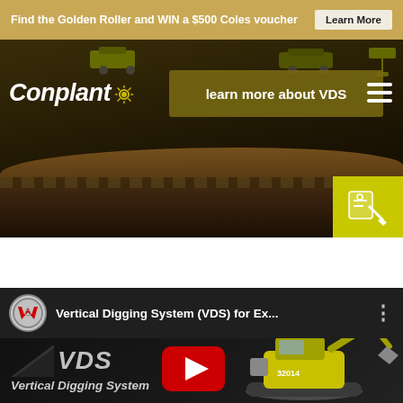Find the Golden Roller and WIN a $500 Coles voucher  Learn More
[Figure (screenshot): Conplant website hero image showing construction machinery and excavation site with dark overlay. Conplant logo on left. VDS promo button in center reading 'learn more about VDS'. Hamburger menu icon on right. Yellow quote button bottom right.]
[Figure (screenshot): YouTube video embed showing Wacker Neuson channel. Title: 'Vertical Digging System (VDS) for Ex...' with three-dot menu. Video thumbnail shows VDS logo with arrow, text 'Vertical Digging System', and mini excavator on dark background with YouTube play button overlay.]